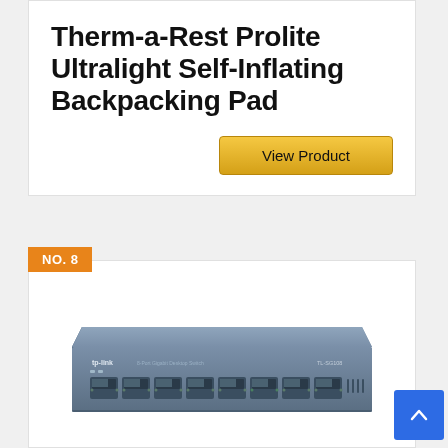Therm-a-Rest Prolite Ultralight Self-Inflating Backpacking Pad
View Product
NO. 8
[Figure (photo): TP-Link 8-port gigabit desktop network switch (model TL-SG108), dark metallic blue/grey color with multiple ethernet ports on the front face, viewed from a slight angle.]